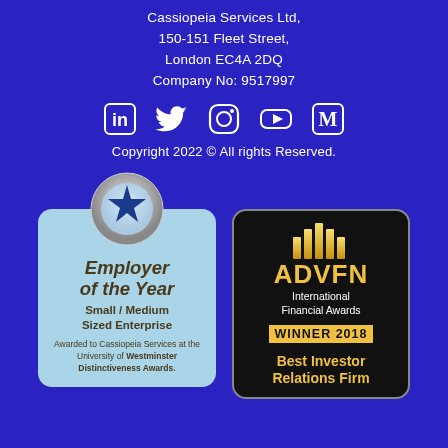Cassiopeia Services Ltd,
150-151 Fleet Street,
London EC4A 2DQ
Company No: 9517997
[Figure (illustration): Social media icons: LinkedIn, Twitter, Instagram, YouTube, Medium]
Copyright 2022 © All rights Reserved.
[Figure (illustration): Employer of the Year badge - Small / Medium Sized Enterprise. Awarded to Cassiopeia Services at the University of Westminster Distinctiveness Awards.]
[Figure (illustration): ADVFN International Financial Awards WINNER 2018 Best Investor Relations Firm badge]